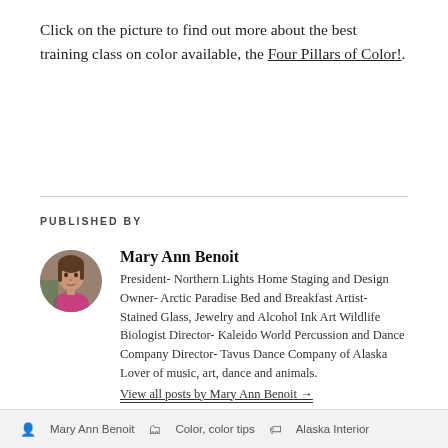Click on the picture to find out more about the best training class on color available, the Four Pillars of Color!.
PUBLISHED BY
[Figure (photo): Circular avatar photo of Mary Ann Benoit, a woman with brown hair.]
Mary Ann Benoit
President- Northern Lights Home Staging and Design Owner- Arctic Paradise Bed and Breakfast Artist- Stained Glass, Jewelry and Alcohol Ink Art Wildlife Biologist Director- Kaleido World Percussion and Dance Company Director- Tavus Dance Company of Alaska Lover of music, art, dance and animals.
View all posts by Mary Ann Benoit →
Mary Ann Benoit   Color, color tips   Alaska Interior